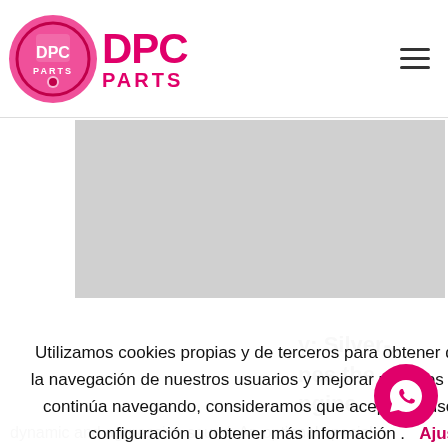DPC PARTS logo and navigation header
[Figure (screenshot): Gray advertisement banner area below header]
y: Silver- nes the ngine
Secondary metal. g.
ound": Triple luces a dynamic and aggressive sound. An optional special
Utilizamos cookies propias y de terceros para obtener datos estadísticos de la navegación de nuestros usuarios y mejorar nuestros servicios. Si acepta o continúa navegando, consideramos que acepta su uso. Puede cambiar la configuración u obtener más información .  Ajustes Cookies
ACEPTAR